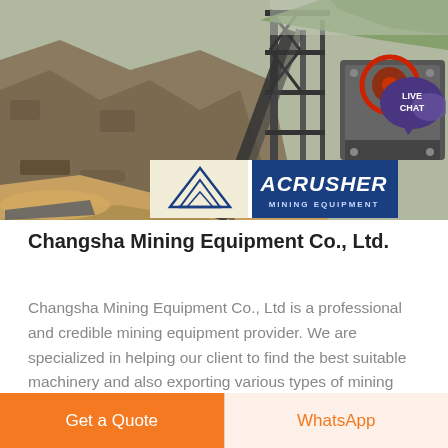[Figure (photo): Mining quarry site with large rocks and heavy industrial crushing equipment on the left; Acrusher Mining Equipment logo panel on the lower right portion of the image; Live Chat bubble in upper right corner.]
Changsha Mining Equipment Co., Ltd.
Changsha Mining Equipment Co., Ltd is a professional and credible mining equipment provider. We are specialized in helping our client to find the best suitable machinery and also exporting various types of mining machinery, the
Get a Quote
WhatsApp